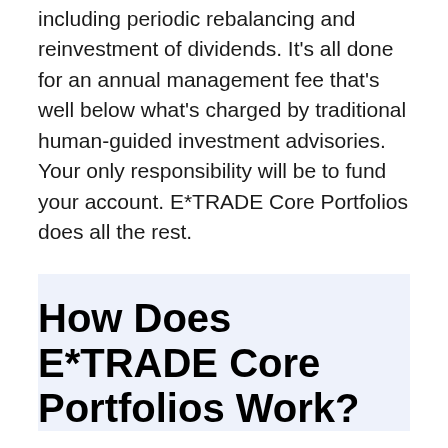including periodic rebalancing and reinvestment of dividends. It's all done for an annual management fee that's well below what's charged by traditional human-guided investment advisories. Your only responsibility will be to fund your account. E*TRADE Core Portfolios does all the rest.
How Does E*TRADE Core Portfolios Work?
When you open an E*TRADE Core Portfolios account, you begin by completing an eight-part questionnaire that assesses your risk and investing goals.
Once you complete the questionnaire, your answers are analyzed, and a portfolio recommendation is provided.